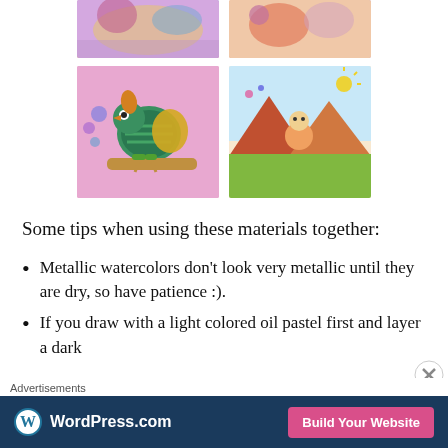[Figure (photo): Two children's artwork images cropped at top - colorful drawings partially visible]
[Figure (photo): Two children's artwork images - left: colorful bird on branch with pink background, right: cheerful scene with character and mountains]
Some tips when using these materials together:
Metallic watercolors don't look very metallic until they are dry, so have patience :).
If you draw with a light colored oil pastel first and layer a dark
Advertisements  WordPress.com  Build Your Website